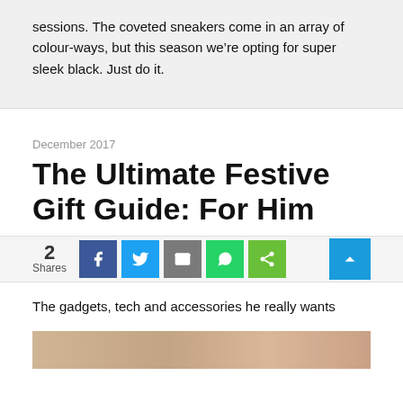sessions. The coveted sneakers come in an array of colour-ways, but this season we’re opting for super sleek black. Just do it.
December 2017
The Ultimate Festive Gift Guide: For Him
2 Shares
The gadgets, tech and accessories he really wants
[Figure (photo): Partial image strip at bottom of page, warm brown/tan tones]